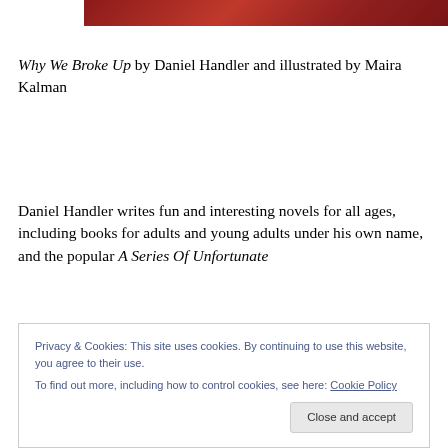[Figure (illustration): Red banner image at top of page, cropped book cover with dark red gradient]
Why We Broke Up by Daniel Handler and illustrated by Maira Kalman
Daniel Handler writes fun and interesting novels for all ages, including books for adults and young adults under his own name, and the popular A Series Of Unfortunate Events under his pen name Lemony Snicket.
Privacy & Cookies: This site uses cookies. By continuing to use this website, you agree to their use.
To find out more, including how to control cookies, see here: Cookie Policy
Close and accept